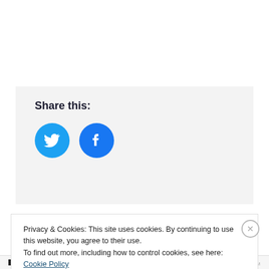Share this:
[Figure (infographic): Two circular social media share buttons: Twitter (blue bird icon) and Facebook (blue 'f' icon)]
Privacy & Cookies: This site uses cookies. By continuing to use this website, you agree to their use.
To find out more, including how to control cookies, see here: Cookie Policy
Close and accept